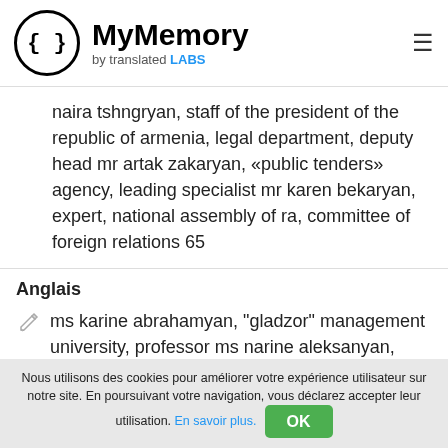MyMemory by translated LABS
naira tshngryan, staff of the president of the republic of armenia, legal department, deputy head mr artak zakaryan, «public tenders» agency, leading specialist mr karen bekaryan, expert, national assembly of ra, committee of foreign relations 65
Anglais
ms karine abrahamyan, "gladzor" management university, professor ms narine aleksanyan, constitutional court of the republic of armenia, assistant to the judge /
Nous utilisons des cookies pour améliorer votre expérience utilisateur sur notre site. En poursuivant votre navigation, vous déclarez accepter leur utilisation. En savoir plus. OK